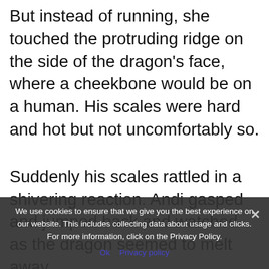But instead of running, she touched the protruding ridge on the side of the dragon's face, where a cheekbone would be on a human. His scales were hard and hot but not uncomfortably so.
Suddenly his scales rattled in a shivering reaction. Andi gasped and jumped back and watched as the dragon seemed to melt away.
And then Damian stood there, in human form. The same man
We use cookies to ensure that we give you the best experience on our website. This includes collecting data about usage and clicks. For more information, click on the Privacy Policy.